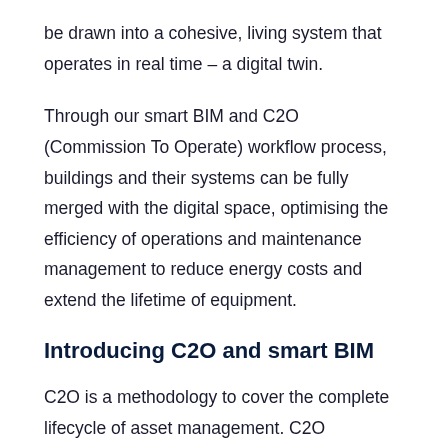be drawn into a cohesive, living system that operates in real time – a digital twin.
Through our smart BIM and C2O (Commission To Operate) workflow process, buildings and their systems can be fully merged with the digital space, optimising the efficiency of operations and maintenance management to reduce energy costs and extend the lifetime of equipment.
Introducing C2O and smart BIM
C2O is a methodology to cover the complete lifecycle of asset management. C2O integrates and automates a variety of tasks across the entire process, from